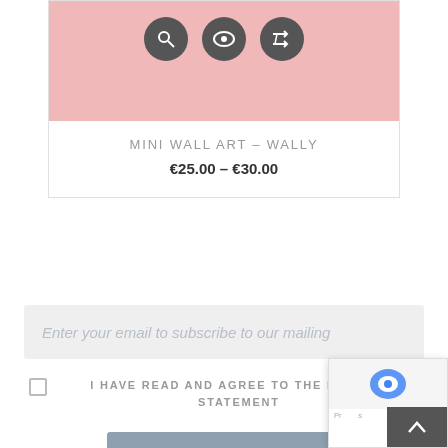[Figure (screenshot): Product card with pink background showing three circular icon buttons (search, eye/view, shuffle/compare), product title and price]
MINI WALL ART – WALLY
€25.00 – €30.00
Enter your email to subscribe to our mailing
I HAVE READ AND AGREE TO THE PRIVACY STATEMENT
SUBSCRIBE